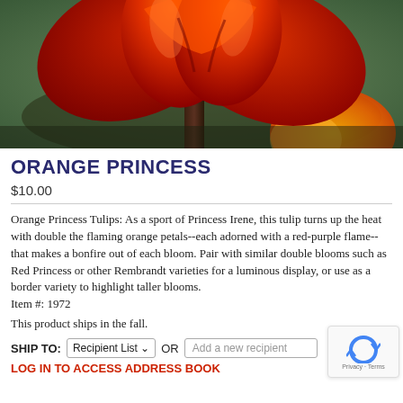[Figure (photo): Close-up photograph of an Orange Princess tulip with vivid red-orange double petals, showing the underside of the bloom from below against a soft blurred green and orange background.]
ORANGE PRINCESS
$10.00
Orange Princess Tulips: As a sport of Princess Irene, this tulip turns up the heat with double the flaming orange petals--each adorned with a red-purple flame--that makes a bonfire out of each bloom. Pair with similar double blooms such as Red Princess or other Rembrandt varieties for a luminous display, or use as a border variety to highlight taller blooms.
Item #: 1972
This product ships in the fall.
SHIP TO: Recipient List ▾  OR  Add a new recipient
LOG IN TO ACCESS ADDRESS BOOK